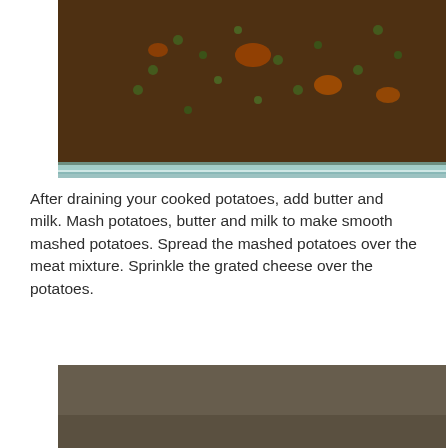[Figure (photo): Top-down photo of meat and vegetable mixture (ground meat with peas, carrots, green beans) in a glass baking dish, partially visible from top portion.]
After draining your cooked potatoes, add butter and milk. Mash potatoes, butter and milk to make smooth mashed potatoes. Spread the mashed potatoes over the meat mixture. Sprinkle the grated cheese over the potatoes.
[Figure (photo): Side-view photo of a glass baking dish showing layers: brown meat mixture at bottom, thick white mashed potato layer in middle, topped with shredded grated cheese on top.]